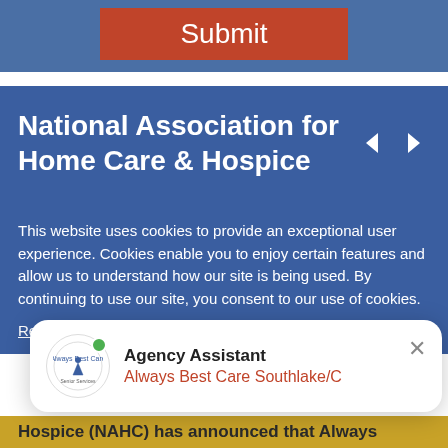[Figure (screenshot): Orange Submit button on a blue background]
National Association for Home Care & Hospice
This website uses cookies to provide an exceptional user experience. Cookies enable you to enjoy certain features and allow us to understand how our site is being used. By continuing to use our site, you consent to our use of cookies.
Read more "opens in a new window"
[Figure (screenshot): Agency Assistant popup notification showing Always Best Care Southlake/C logo and name]
Hospice (NAHC) has announced that Always